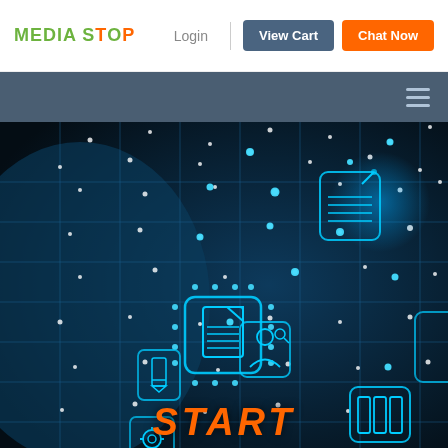MEDIA STOP — Login | View Cart | Chat Now
[Figure (screenshot): Dark blue digital circuit board background with glowing blue document/file icons connected by circuit pathways and glowing dots, technology themed hero image]
START